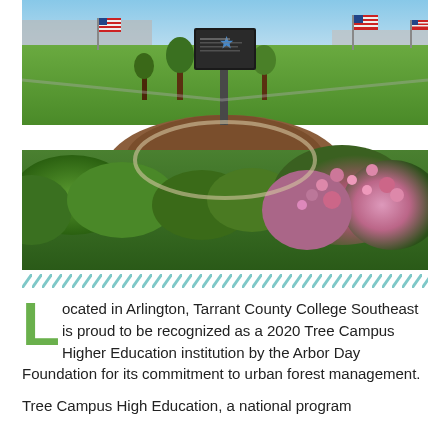[Figure (photo): Outdoor photo of a Blue Star Memorial monument surrounded by a circular garden with pink/purple flowers, American flags on poles, green lawn, trees, and a parking area in the background. Taken at Tarrant County College Southeast campus in Arlington.]
Located in Arlington, Tarrant County College Southeast is proud to be recognized as a 2020 Tree Campus Higher Education institution by the Arbor Day Foundation for its commitment to urban forest management.
Tree Campus High Education, a national program